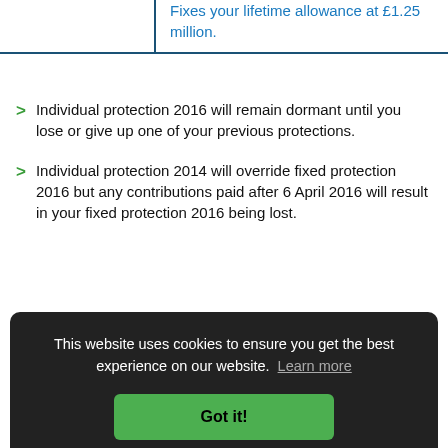|  | Fixes your lifetime allowance at £1.25 million. |
Individual protection 2016 will remain dormant until you lose or give up one of your previous protections.
Individual protection 2014 will override fixed protection 2016 but any contributions paid after 6 April 2016 will result in your fixed protection 2016 being lost.
P...
If protection is lost, or if pension savings put
[Figure (screenshot): Cookie consent banner overlay: dark background with text 'This website uses cookies to ensure you get the best experience on our website. Learn more' and a green 'Got it!' button.]